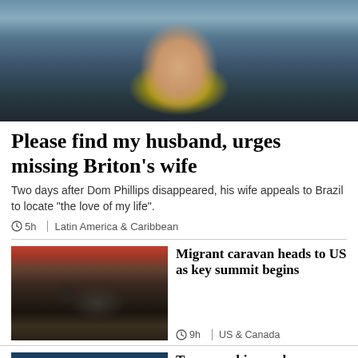[Figure (photo): A middle-aged man wearing a bright yellow-green athletic shirt and a backpack, smiling, outdoors in a wooded area.]
Please find my husband, urges missing Briton's wife
Two days after Dom Phillips disappeared, his wife appeals to Brazil to locate "the love of my life".
5h  |  Latin America & Caribbean
[Figure (photo): A crowd of migrants marching, several with raised fists, in a street scene.]
Migrant caravan heads to US as key summit begins
9h  |  US & Canada
[Figure (photo): Underwater scene, partial view, related to shipwrecks story.]
Two new shipwrecks